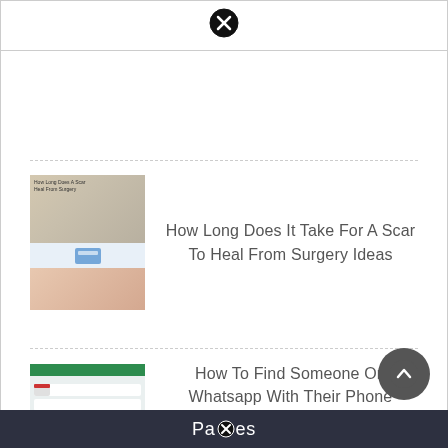[Figure (screenshot): Close (X) button icon at top center]
[Figure (photo): Thumbnail image for scar healing article showing face and skin]
How Long Does It Take For A Scar To Heal From Surgery Ideas
[Figure (screenshot): Thumbnail image for WhatsApp article showing chat interface]
How To Find Someone On Whatsapp With Their Phone Number Ideas
Pages